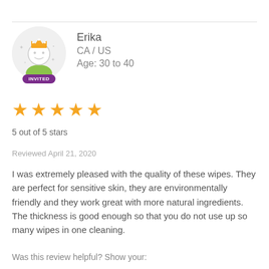[Figure (illustration): Avatar of user Erika — cartoon face with crown, in a circular grey background, with a purple 'INVITED' badge at the bottom]
Erika
CA / US
Age: 30 to 40
[Figure (infographic): 5 gold star rating icons]
5 out of 5 stars
Reviewed April 21, 2020
I was extremely pleased with the quality of these wipes. They are perfect for sensitive skin, they are environmentally friendly and they work great with more natural ingredients. The thickness is good enough so that you do not use up so many wipes in one cleaning.
Was this review helpful? Show your: